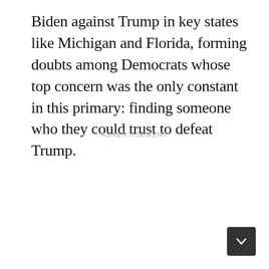Biden against Trump in key states like Michigan and Florida, forming doubts among Democrats whose top concern was the only constant in this primary: finding someone who they could trust to defeat Trump.
ADVERTISEMENT